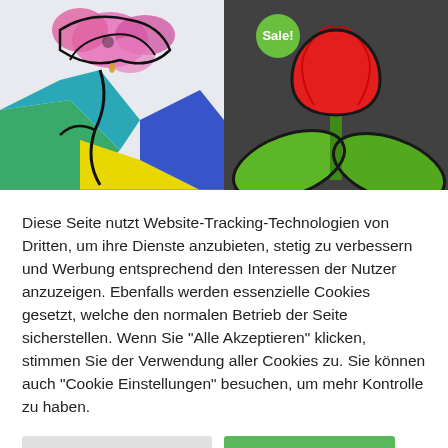[Figure (photo): Two product images side by side: left is a colorful stained-glass style art piece with pink flowers and vibrant colors; right is a dark background glass piece with a red tulip and green leaves, with a green 'Sale!' badge in the upper left corner.]
Diese Seite nutzt Website-Tracking-Technologien von Dritten, um ihre Dienste anzubieten, stetig zu verbessern und Werbung entsprechend den Interessen der Nutzer anzuzeigen. Ebenfalls werden essenzielle Cookies gesetzt, welche den normalen Betrieb der Seite sicherstellen. Wenn Sie "Alle Akzeptieren" klicken, stimmen Sie der Verwendung aller Cookies zu. Sie können auch "Cookie Einstellungen" besuchen, um mehr Kontrolle zu haben.
Cookie Einstellungen
Alle Akzeptieren